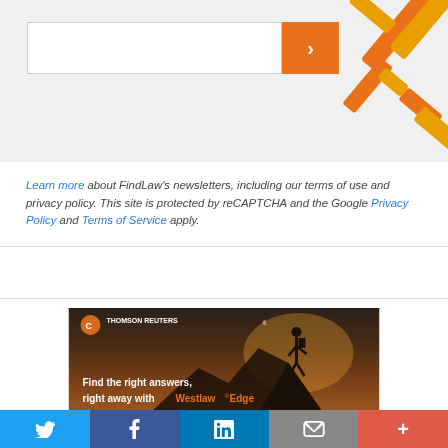[Figure (screenshot): Search input box with orange arrow button and orange decorative geometric shapes in background]
Learn more about FindLaw's newsletters, including our terms of use and privacy policy. This site is protected by reCAPTCHA and the Google Privacy Policy and Terms of Service apply.
[Figure (photo): Thomson Reuters advertisement showing a hiker on a mountain peak at sunset. Text reads: Find the right answers, right away with Westlaw Edge. Thomson Reuters logo visible at top left.]
[Figure (infographic): Social sharing bar with Twitter, Facebook, LinkedIn, email, and more buttons]